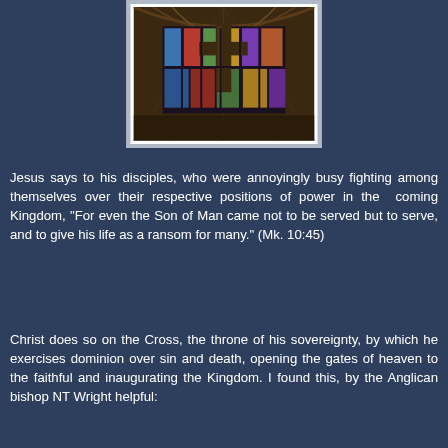[Figure (photo): Interior of a cathedral with stained glass windows and a cross visible in the center]
Jesus says to his disciples, who were annoyingly busy fighting among themselves over their respective positions of power in the coming Kingdom, "For even the Son of Man came not to be served but to serve, and to give his life as a ransom for many." (Mk. 10:45)
Christ does so on the Cross, the throne of his sovereignty, by which he exercises dominion over sin and death, opening the gates of heaven to the faithful and inaugurating the Kingdom. I found this, by the Anglican bishop NT Wright helpful: